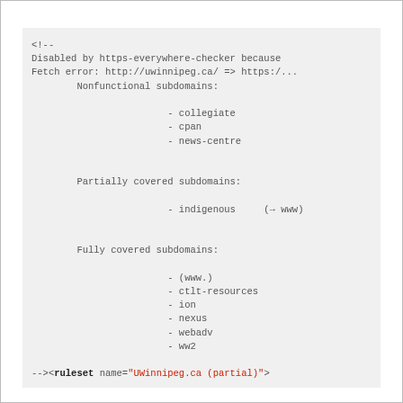<!--
Disabled by https-everywhere-checker because
Fetch error: http://uwinnipeg.ca/ => https:/...
        Nonfunctional subdomains:

                - collegiate
                - cpan
                - news-centre


        Partially covered subdomains:

                - indigenous    (→ www)


        Fully covered subdomains:

                - (www.)
                - ctlt-resources
                - ion
                - nexus
                - webadv
                - ww2

--><ruleset name="UWinnipeg.ca (partial)">

        <target host="uwinnipeg.ca"/>